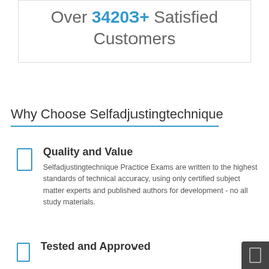Over 34203+ Satisfied Customers
Why Choose Selfadjustingtechnique
Quality and Value — Selfadjustingtechnique Practice Exams are written to the highest standards of technical accuracy, using only certified subject matter experts and published authors for development - no all study materials.
Tested and Approved